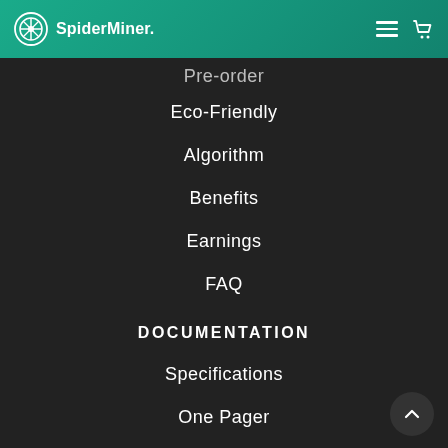SpiderMiner.
Pre-order
Eco-Friendly
Algorithm
Benefits
Earnings
FAQ
DOCUMENTATION
Specifications
One Pager
Pitch Deck
Infographic